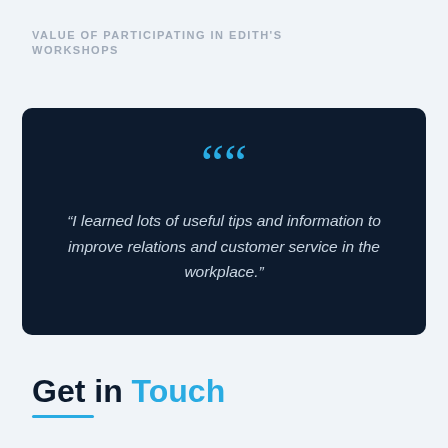VALUE OF PARTICIPATING IN EDITH'S WORKSHOPS
“I learned lots of useful tips and information to improve relations and customer service in the workplace.”
Get in Touch